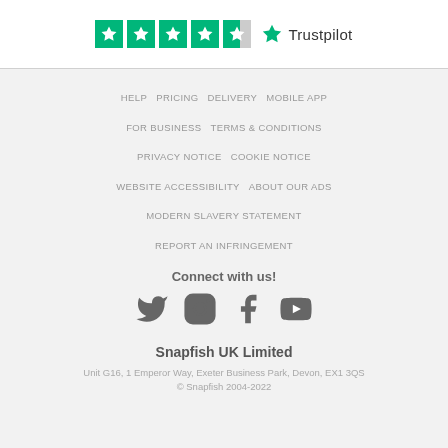[Figure (logo): Trustpilot rating showing 4.5 green stars and the Trustpilot logo with star icon]
HELP   PRICING   DELIVERY   MOBILE APP
FOR BUSINESS   TERMS & CONDITIONS
PRIVACY NOTICE   COOKIE NOTICE
WEBSITE ACCESSIBILITY   ABOUT OUR ADS
MODERN SLAVERY STATEMENT
REPORT AN INFRINGEMENT
Connect with us!
[Figure (illustration): Social media icons: Twitter, Instagram, Facebook, YouTube]
Snapfish UK Limited
Unit G16, 1 Emperor Way, Exeter Business Park, Devon, EX1 3QS
© Snapfish 2004-2022